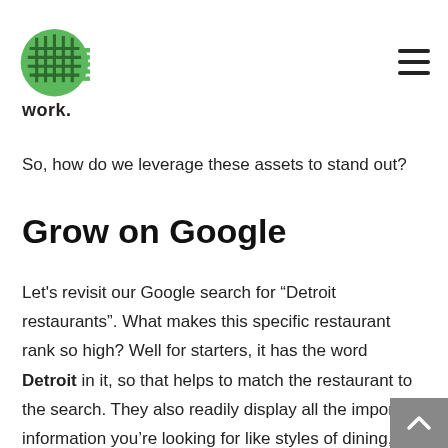work.
So, how do we leverage these assets to stand out?
Grow on Google
Let's revisit our Google search for “Detroit restaurants”. What makes this specific restaurant rank so high? Well for starters, it has the word Detroit in it, so that helps to match the restaurant to the search. They also readily display all the important information you’re looking for like styles of dining, delivery, reservation links, contact information, and Q&A sections. They also boast a lot of